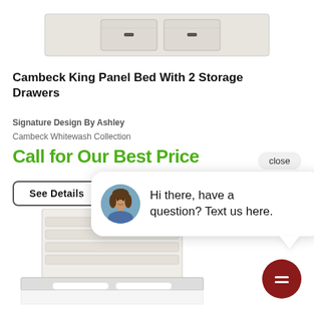[Figure (photo): Top portion of a white/whitewash king panel bed with storage drawers, showing the footboard and drawer hardware]
Cambeck King Panel Bed With 2 Storage Drawers
Signature Design By Ashley
Cambeck Whitewash Collection
Call for Our Best Price
close
See Details
[Figure (screenshot): Chat widget popup showing a woman's avatar photo and the message: Hi there, have a question? Text us here.]
[Figure (photo): Bottom portion of the Cambeck whitewash bed showing the headboard with horizontal slats and white bedding]
[Figure (other): Dark red circular chat icon button with a message/lines icon]